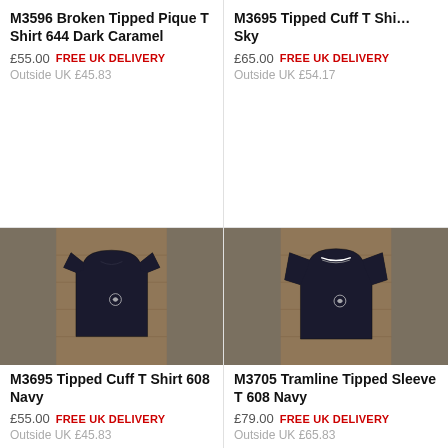M3596 Broken Tipped Pique T Shirt 644 Dark Caramel
£55.00 FREE UK DELIVERY
Outside UK £45.83
M3695 Tipped Cuff T Shi… Sky
£65.00 FREE UK DELIVERY
Outside UK £54.17
[Figure (photo): Navy Fred Perry Tipped Cuff T Shirt 608 on wooden background]
[Figure (photo): Navy Fred Perry Tramline Tipped Long Sleeve T 608 on wooden background]
M3695 Tipped Cuff T Shirt 608 Navy
£55.00 FREE UK DELIVERY
Outside UK £45.83
M3705 Tramline Tipped Sleeve T 608 Navy
£79.00 FREE UK DELIVERY
Outside UK £65.83